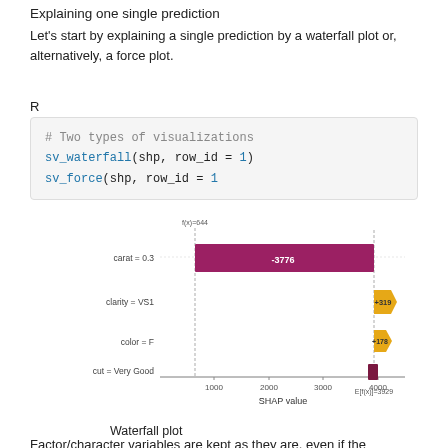Explaining one single prediction
Let's start by explaining a single prediction by a waterfall plot or, alternatively, a force plot.
R
# Two types of visualizations
sv_waterfall(shp, row_id = 1)
sv_force(shp, row_id = 1
[Figure (waterfall-chart): Waterfall chart showing SHAP values for a single prediction. f(x)=644 at top, E[f(x)]=3929 at bottom. carat=0.3 has large negative bar (-3776), clarity=VS1 positive (+319), color=F positive, cut=Very Good small negative.]
Waterfall plot
Factor/character variables are kept as they are, even if the underlying